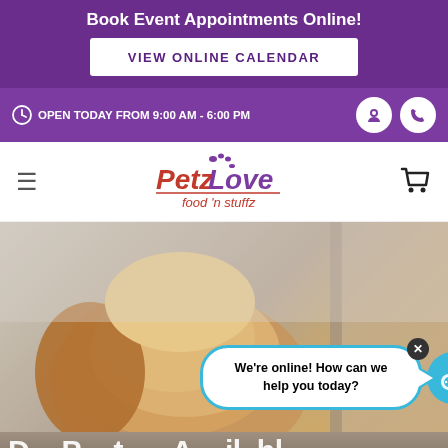Book Event Appointments Online!
VIEW ONLINE CALENDAR
OPEN TODAY FROM 9:00 AM - 6:00 PM
[Figure (logo): PetzLove food 'n stuffz logo with paw prints]
[Figure (photo): Close-up photo of a golden retriever dog with a chat bubble overlay saying We're online! How can we help you today?]
We're online! How can we help you today?